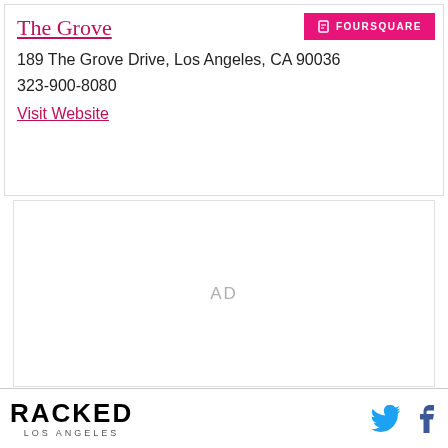The Grove
189 The Grove Drive, Los Angeles, CA 90036
323-900-8080
Visit Website
[Figure (other): AD placeholder area with light gray border]
RACKED LOS ANGELES